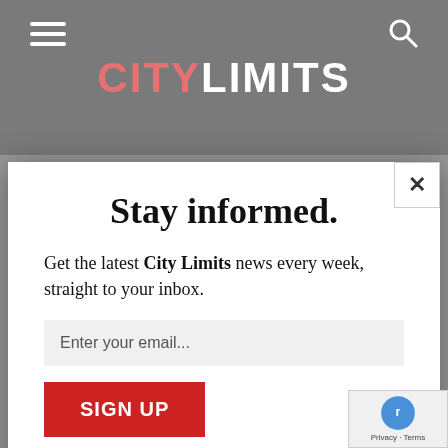CITY LIMITS
Stay informed.
Get the latest City Limits news every week, straight to your inbox.
Enter your email...
SIGN UP
We do not sell or share your information with anyone.
I'm a US citizen living on social security, my w... Filipina with an ITIN. We file jointly. My wife ha... never been in the US so nothing illegal about o...